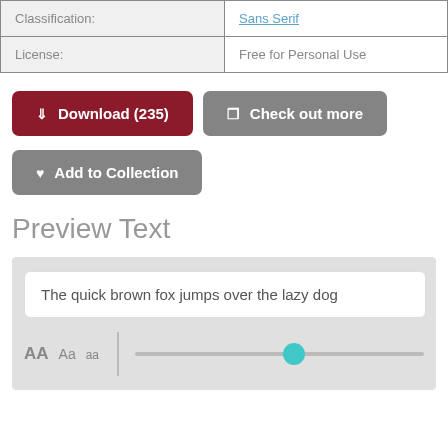|  |  |
| --- | --- |
| Classification: | Sans Serif |
| License: | Free for Personal Use |
[Figure (other): Three buttons: 'Download (235)' in dark red, 'Check out more' in gray, and 'Add to Collection' in gray, with icons.]
Preview Text
[Figure (other): Preview text box showing 'The quick brown fox jumps over the lazy dog', with size controls (AA, Aa, aa) and a slider with teal thumb.]